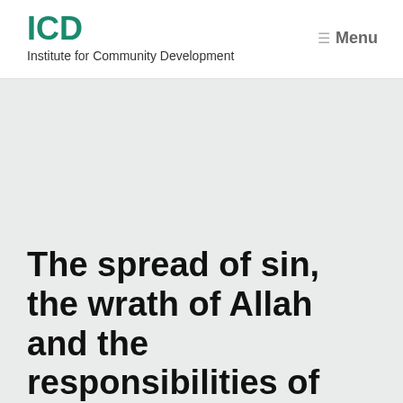ICD
Institute for Community Development
The spread of sin, the wrath of Allah and the responsibilities of